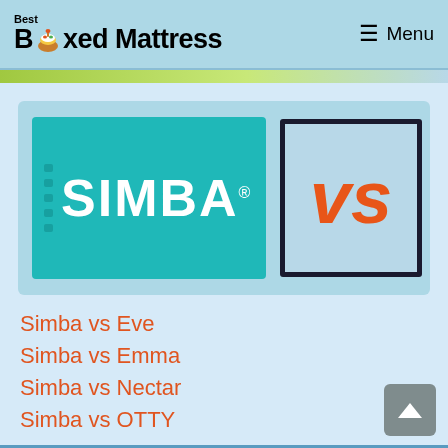Best Boxed Mattress — Menu
[Figure (logo): Simba logo on teal background with 'VS' in orange on a blue bordered box]
Simba vs Eve
Simba vs Emma
Simba vs Nectar
Simba vs OTTY